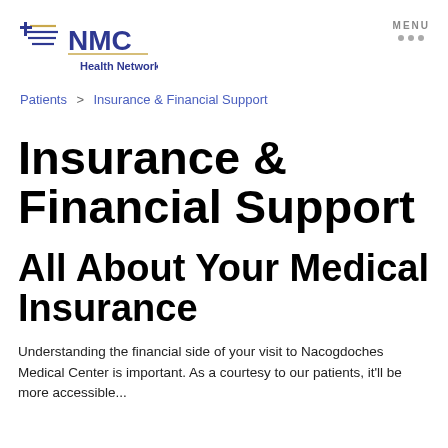NMC Health Network — MENU
Patients > Insurance & Financial Support
Insurance & Financial Support
All About Your Medical Insurance
Understanding the financial side of your visit to Nacogdoches Medical Center is important. As a courtesy to our patients, it'll be...